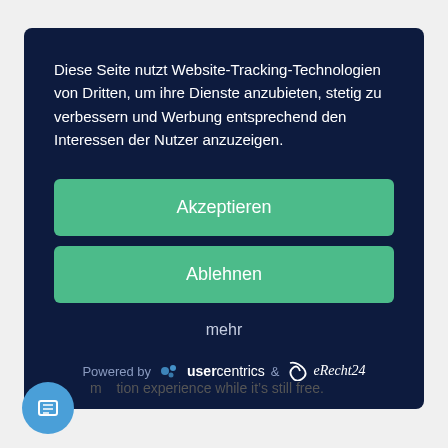Diese Seite nutzt Website-Tracking-Technologien von Dritten, um ihre Dienste anzubieten, stetig zu verbessern und Werbung entsprechend den Interessen der Nutzer anzuzeigen.
Akzeptieren
Ablehnen
mehr
Powered by  usercentrics  &  eRecht24
m  tion experience while it's still free.